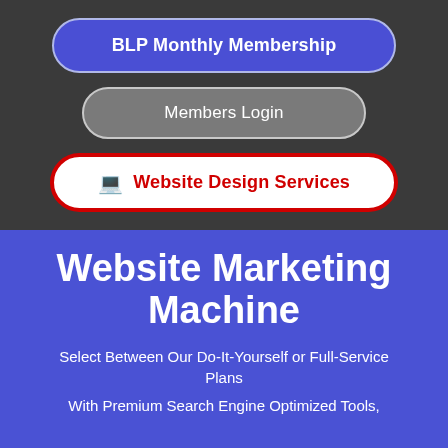[Figure (screenshot): Navigation button: BLP Monthly Membership (blue rounded button with light border)]
[Figure (screenshot): Navigation button: Members Login (gray rounded button with light border)]
[Figure (screenshot): Navigation button: Website Design Services (white rounded button with red border and laptop icon, red text)]
Website Marketing Machine
Select Between Our Do-It-Yourself or Full-Service Plans
With Premium Search Engine Optimized Tools,